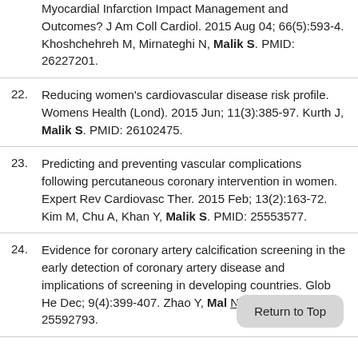Myocardial Infarction Impact Management and Outcomes? J Am Coll Cardiol. 2015 Aug 04; 66(5):593-4. Khoshchehreh M, Mirnateghi N, Malik S. PMID: 26227201.
22. Reducing women's cardiovascular disease risk profile. Womens Health (Lond). 2015 Jun; 11(3):385-97. Kurth J, Malik S. PMID: 26102475.
23. Predicting and preventing vascular complications following percutaneous coronary intervention in women. Expert Rev Cardiovasc Ther. 2015 Feb; 13(2):163-72. Kim M, Chu A, Khan Y, Malik S. PMID: 25553577.
24. Evidence for coronary artery calcification screening in the early detection of coronary artery disease and implications of screening in developing countries. Glob He Dec; 9(4):399-407. Zhao Y, Malik S ND. PMID: 25592793.